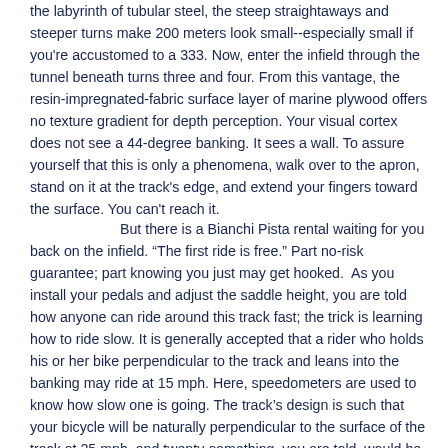the labyrinth of tubular steel, the steep straightaways and steeper turns make 200 meters look small--especially small if you're accustomed to a 333. Now, enter the infield through the tunnel beneath turns three and four. From this vantage, the resin-impregnated-fabric surface layer of marine plywood offers no texture gradient for depth perception. Your visual cortex does not see a 44-degree banking. It sees a wall. To assure yourself that this is only a phenomena, walk over to the apron, stand on it at the track's edge, and extend your fingers toward the surface. You can't reach it.
But there is a Bianchi Pista rental waiting for you back on the infield. “The first ride is free.” Part no-risk guarantee; part knowing you just may get hooked. As you install your pedals and adjust the saddle height, you are told how anyone can ride around this track fast; the trick is learning how to ride slow. It is generally accepted that a rider who holds his or her bike perpendicular to the track and leans into the banking may ride at 15 mph. Here, speedometers are used to know how slow one is going. The track’s design is such that your bicycle will be naturally perpendicular to the surface of the track at 25 mph, and twenty-something, you are told, would be a nice speed for your first few laps. But first you practice accelerating and decelerating an 81-inch fixed gear on the blue band of the apron, le côté d’azur (which is also banked), and